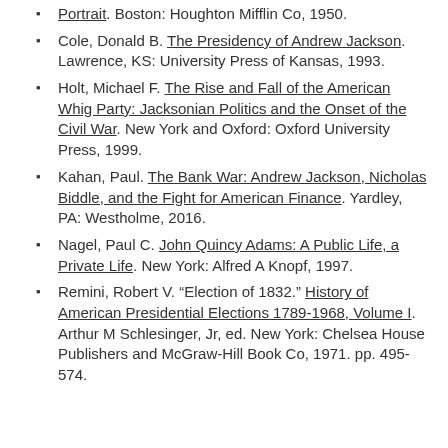Portrait. Boston: Houghton Mifflin Co, 1950.
Cole, Donald B. The Presidency of Andrew Jackson. Lawrence, KS: University Press of Kansas, 1993.
Holt, Michael F. The Rise and Fall of the American Whig Party: Jacksonian Politics and the Onset of the Civil War. New York and Oxford: Oxford University Press, 1999.
Kahan, Paul. The Bank War: Andrew Jackson, Nicholas Biddle, and the Fight for American Finance. Yardley, PA: Westholme, 2016.
Nagel, Paul C. John Quincy Adams: A Public Life, a Private Life. New York: Alfred A Knopf, 1997.
Remini, Robert V. "Election of 1832." History of American Presidential Elections 1789-1968, Volume I. Arthur M Schlesinger, Jr, ed. New York: Chelsea House Publishers and McGraw-Hill Book Co, 1971. pp. 495-574.